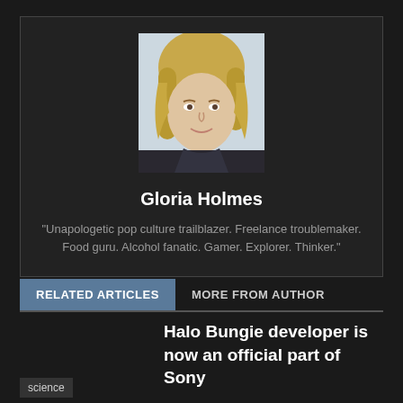[Figure (photo): Portrait photo of a young blonde woman smiling, wearing a dark jacket, outdoor lighting]
Gloria Holmes
"Unapologetic pop culture trailblazer. Freelance troublemaker. Food guru. Alcohol fanatic. Gamer. Explorer. Thinker."
RELATED ARTICLES
MORE FROM AUTHOR
Halo Bungie developer is now an official part of Sony
science